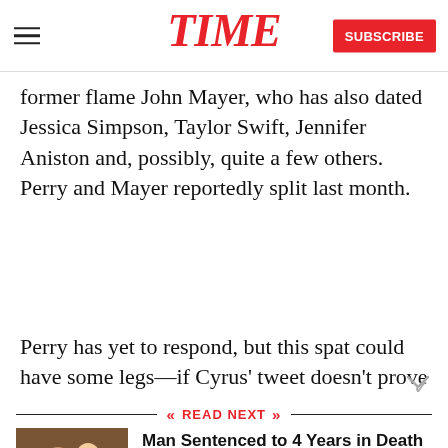TIME | SUBSCRIBE
former flame John Mayer, who has also dated Jessica Simpson, Taylor Swift, Jennifer Aniston and, possibly, quite a few others. Perry and Mayer reportedly split last month.
Perry has yet to respond, but this spat could have some legs—if Cyrus' tweet doesn't prove to be a
READ NEXT
[Figure (photo): Photo of a man and woman in a courtroom or formal setting]
Man Sentenced to 4 Years in Death of Usher's Stepson